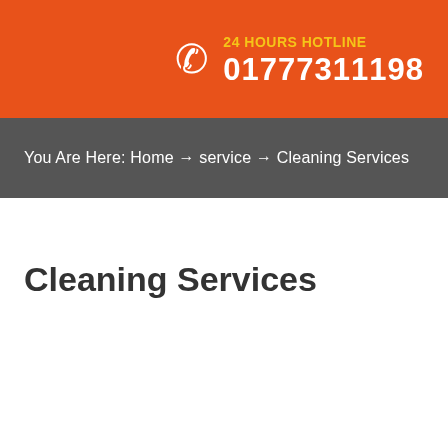24 HOURS HOTLINE 01777311198
You Are Here: Home → service → Cleaning Services
Cleaning Services